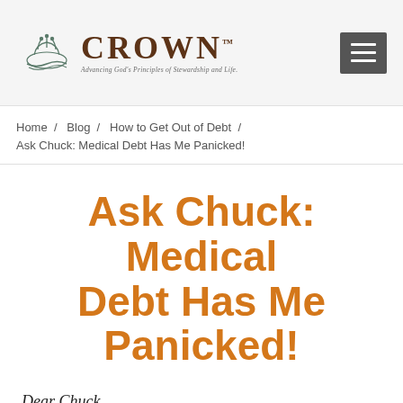[Figure (logo): Crown Financial Ministries logo with fish/crown icon and text 'CROWN - Advancing God's Principles of Stewardship and Life' plus a hamburger menu button]
Home / Blog / How to Get Out of Debt / Ask Chuck: Medical Debt Has Me Panicked!
Ask Chuck: Medical Debt Has Me Panicked!
Dear Chuck,
I am stunned at the rising cost of our